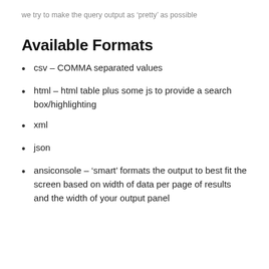we try to make the query output as 'pretty' as possible
Available Formats
csv – COMMA separated values
html – html table plus some js to provide a search box/highlighting
xml
json
ansiconsole – 'smart' formats the output to best fit the screen based on width of data per page of results and the width of your output panel